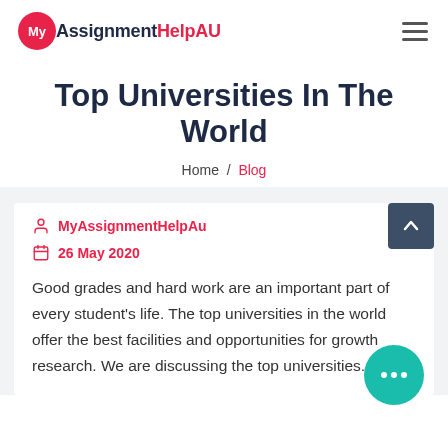MyAssignmentHelpAU
Top Universities In The World
Home / Blog
MyAssignmentHelpAu
26 May 2020
Good grades and hard work are an important part of every student's life. The top universities in the world offer the best facilities and opportunities for growth research. We are discussing the top universities. This